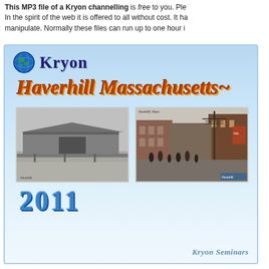This MP3 file of a Kryon channelling is free to you. Ple... In the spirit of the web it is offered to all without cost. It ha... manipulate. Normally these files can run up to one hour i...
[Figure (illustration): Kryon seminar card with blue gradient background featuring: globe icon, 'Kryon' title text, 'Haverhill Massachusetts' decorative title in brown/orange, two historical photographs (black-and-white covered bridge and color street scene), '2011' year in blue 3D text, and 'Kryon Seminars' in bottom right corner.]